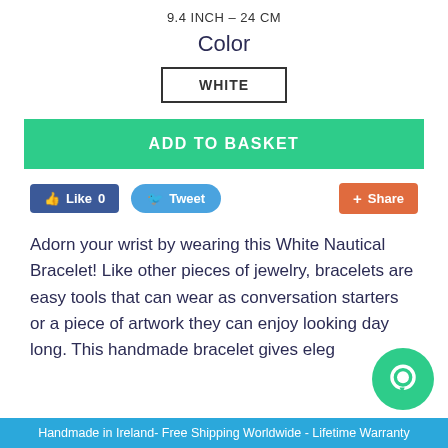9.4 INCH – 24 CM
Color
WHITE
ADD TO BASKET
[Figure (screenshot): Social sharing buttons: Like 0, Tweet, Share]
Adorn your wrist by wearing this White Nautical Bracelet! Like other pieces of jewelry, bracelets are easy tools that can wear as conversation starters or a piece of artwork they can enjoy looking day long. This handmade bracelet gives eleg
Handmade in Ireland- Free Shipping Worldwide - Lifetime Warranty